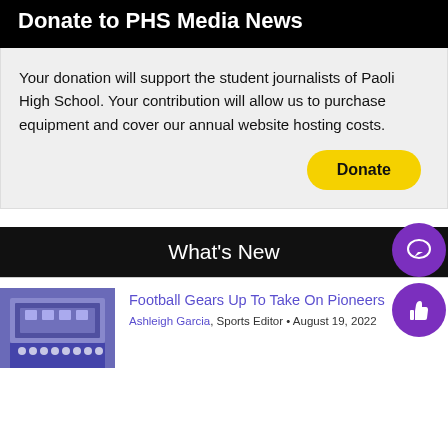Donate to PHS Media News
Your donation will support the student journalists of Paoli High School. Your contribution will allow us to purchase equipment and cover our annual website hosting costs.
Donate
What's New
[Figure (photo): Football team photo in front of school building, players in purple uniforms]
Football Gears Up To Take On Pioneers
Ashleigh Garcia, Sports Editor • August 19, 2022